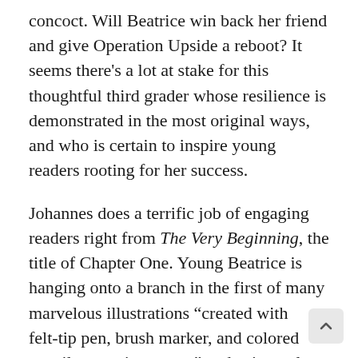concoct. Will Beatrice win back her friend and give Operation Upside a reboot? It seems there's a lot at stake for this thoughtful third grader whose resilience is demonstrated in the most original ways, and who is certain to inspire young readers rooting for her success.
Johannes does a terrific job of engaging readers right from The Very Beginning, the title of Chapter One. Young Beatrice is hanging onto a branch in the first of many marvelous illustrations "created with felt-tip pen, brush marker, and colored pencil on tracing paper," and using only black, grays and orange. And it works wonderfully. There's occasional rhyme and an easy flow from chapter to chapter in this 155-page book kids should breeze through. The problem-solving and different thinker theme is age appropriate and should encourage